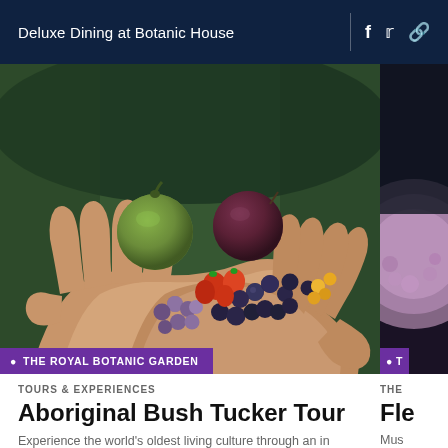Deluxe Dining at Botanic House
[Figure (photo): Hands cupped together holding a variety of native Australian bush tucker fruits and berries including a green fruit, purple passion fruit, strawberries, blueberries, purple berries, and small yellow berries, against a dark green background]
THE ROYAL BOTANIC GARDEN
TOURS & EXPERIENCES
Aboriginal Bush Tucker Tour
Experience the world's oldest living culture through an in depth tour